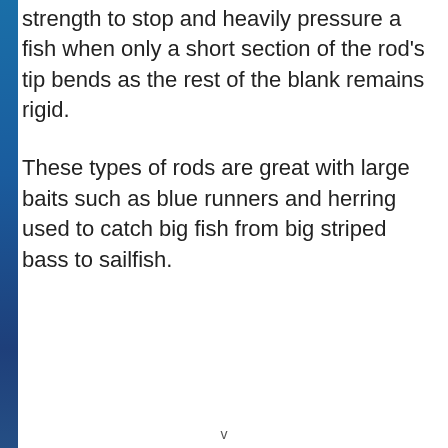strength to stop and heavily pressure a fish when only a short section of the rod's tip bends as the rest of the blank remains rigid.
These types of rods are great with large baits such as blue runners and herring used to catch big fish from big striped bass to sailfish.
v